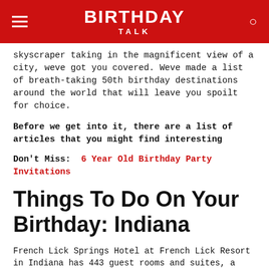BIRTHDAY TALK
skyscraper taking in the magnificent view of a city, weve got you covered. Weve made a list of breath-taking 50th birthday destinations around the world that will leave you spoilt for choice.
Before we get into it, there are a list of articles that you might find interesting
Don't Miss:  6 Year Old Birthday Party Invitations
Things To Do On Your Birthday: Indiana
French Lick Springs Hotel at French Lick Resort in Indiana has 443 guest rooms and suites, a pool complex with indoor/outdoor pools, hot tub and fitness center. The hotel offers both casual and fine dining options. The property is famous for its nearby sulfur springs Activities include three